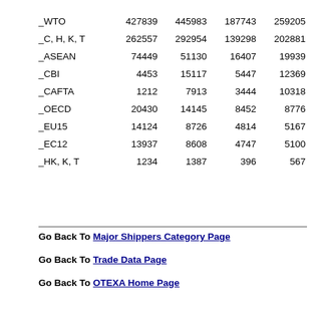| _WTO | 427839 | 445983 | 187743 | 259205 |
| _C, H, K, T | 262557 | 292954 | 139298 | 202881 |
| _ASEAN | 74449 | 51130 | 16407 | 19939 |
| _CBI | 4453 | 15117 | 5447 | 12369 |
| _CAFTA | 1212 | 7913 | 3444 | 10318 |
| _OECD | 20430 | 14145 | 8452 | 8776 |
| _EU15 | 14124 | 8726 | 4814 | 5167 |
| _EC12 | 13937 | 8608 | 4747 | 5100 |
| _HK, K, T | 1234 | 1387 | 396 | 567 |
Go Back To Major Shippers Category Page
Go Back To Trade Data Page
Go Back To OTEXA Home Page